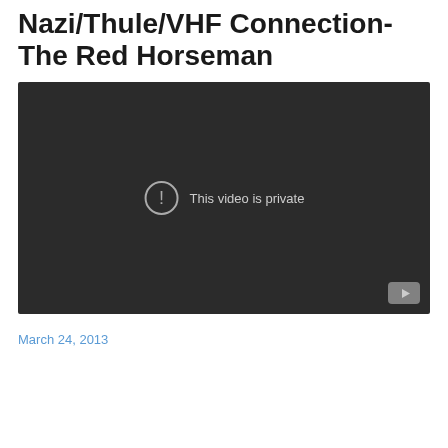Nazi/Thule/VHF Connection- The Red Horseman
[Figure (screenshot): Embedded video player showing a private YouTube video. Dark background with a circle exclamation icon and text 'This video is private'. YouTube play button icon in bottom right corner.]
March 24, 2013